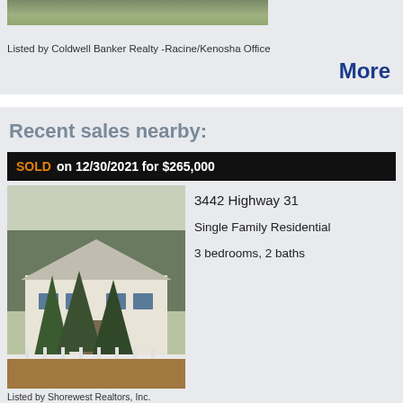[Figure (photo): Property photo at top (partially visible, showing a flat marker or gravestone on green grass)]
Listed by Coldwell Banker Realty -Racine/Kenosha Office
More
Recent sales nearby:
SOLD on 12/30/2021 for $265,000
[Figure (photo): Photo of a white single-family home with evergreen trees in front, colonial style with shutters and white fence]
3442 Highway 31
Single Family Residential
3 bedrooms, 2 baths
Listed by Shorewest Realtors, Inc.
SOLD on 2/14/2022 for $265,000